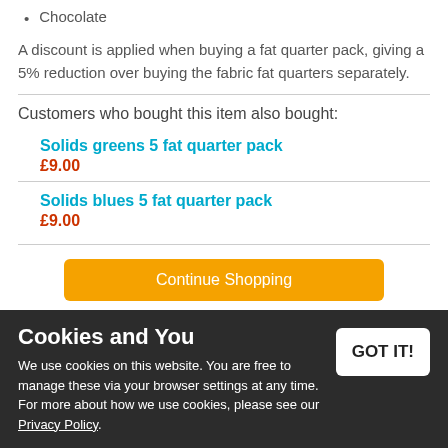Chocolate
A discount is applied when buying a fat quarter pack, giving a 5% reduction over buying the fabric fat quarters separately.
Customers who bought this item also bought:
Solids greens 5 fat quarter pack
£9.00
Solids blues 5 fat quarter pack
£9.00
Continue Shopping
Add to Wish List
Tell a Friend
Rel
Cookies and You
We use cookies on this website. You are free to manage these via your browser settings at any time. For more about how we use cookies, please see our Privacy Policy.
GOT IT!